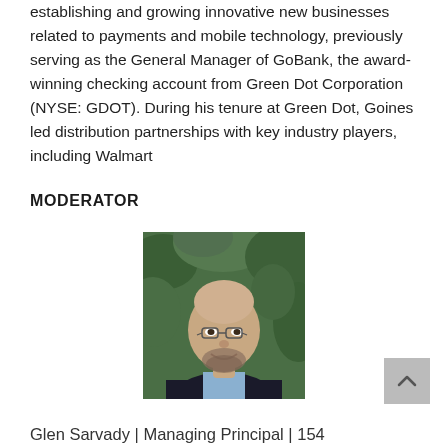establishing and growing innovative new businesses related to payments and mobile technology, previously serving as the General Manager of GoBank, the award-winning checking account from Green Dot Corporation (NYSE: GDOT). During his tenure at Green Dot, Goines led distribution partnerships with key industry players, including Walmart
MODERATOR
[Figure (photo): Headshot of Glen Sarvady, a bald man with glasses and a beard, smiling, wearing a dark jacket over a light blue shirt, with green foliage in the background.]
Glen Sarvady | Managing Principal | 154